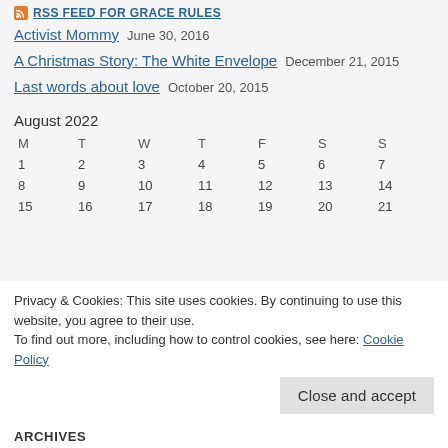RSS FEED FOR GRACE RULES
Activist Mommy   June 30, 2016
A Christmas Story: The White Envelope   December 21, 2015
Last words about love   October 20, 2015
August 2022
| M | T | W | T | F | S | S |
| --- | --- | --- | --- | --- | --- | --- |
| 1 | 2 | 3 | 4 | 5 | 6 | 7 |
| 8 | 9 | 10 | 11 | 12 | 13 | 14 |
| 15 | 16 | 17 | 18 | 19 | 20 | 21 |
Privacy & Cookies: This site uses cookies. By continuing to use this website, you agree to their use. To find out more, including how to control cookies, see here: Cookie Policy
ARCHIVES